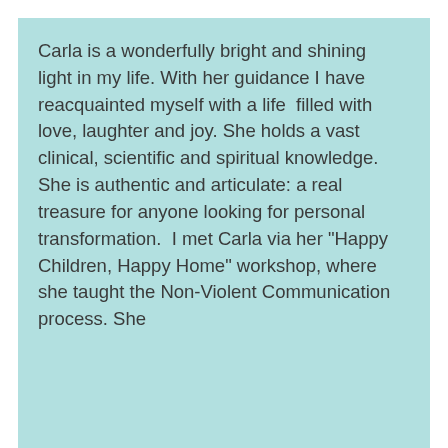Carla is a wonderfully bright and shining light in my life. With her guidance I have reacquainted myself with a life  filled with love, laughter and joy. She holds a vast clinical, scientific and spiritual knowledge. She is authentic and articulate: a real treasure for anyone looking for personal transformation.  I met Carla via her "Happy Children, Happy Home" workshop, where she taught the Non-Violent Communication process. She